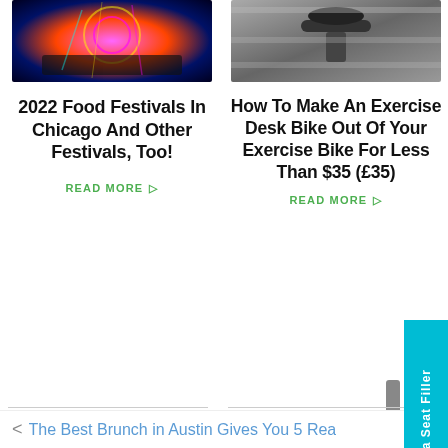[Figure (photo): Colorful neon carnival/festival lights at night]
[Figure (photo): Close-up of exercise bike handlebars and seat area]
2022 Food Festivals In Chicago And Other Festivals, Too!
READ MORE ▷
How To Make An Exercise Desk Bike Out Of Your Exercise Bike For Less Than $35 (£35)
READ MORE ▷
Be a Seat Filler
< The Best Brunch in Austin Gives You 5 Rea